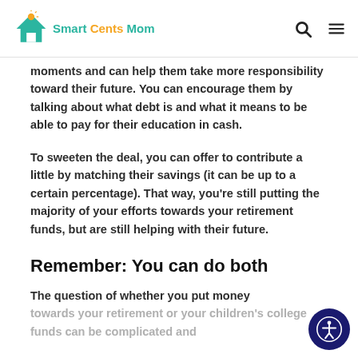Smart Cents Mom
moments and can help them take more responsibility toward their future. You can encourage them by talking about what debt is and what it means to be able to pay for their education in cash.
To sweeten the deal, you can offer to contribute a little by matching their savings (it can be up to a certain percentage). That way, you're still putting the majority of your efforts towards your retirement funds, but are still helping with their future.
Remember: You can do both
The question of whether you put money towards your retirement or your children's college funds can be complicated and